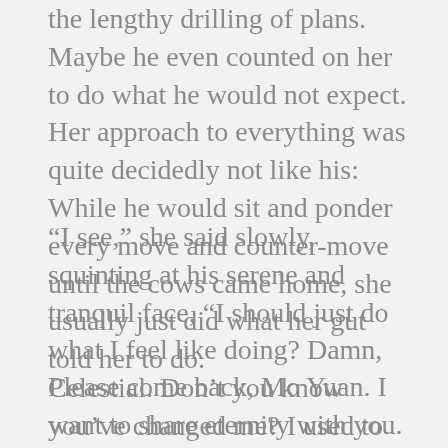the lengthy drilling of plans. Maybe he even counted on her to do what he would not expect. Her approach to everything was quite decidedly not like his: While he would sit and ponder every move and counter-move until the cows came home, she usually just did what her gut told her to do.
“I see,” she said slowly, squinting at his serene and tranquil face, “I should just do what I feel like doing? Damn, Celestial. Don’t you know you’ve changed me? I used to care for nobody, least myself. But now?”
Please come back, Mo Yuan. I want to share eternity with you. We need to see our children grow up together. Imagine: the Demon Ancestor and the